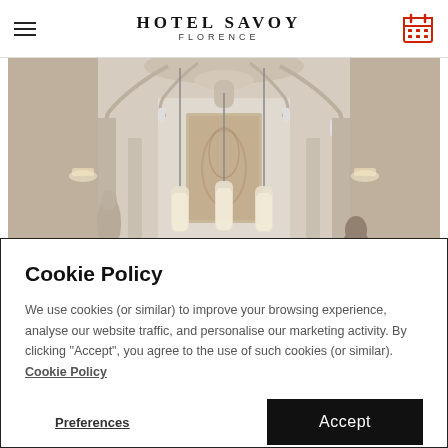HOTEL SAVOY FLORENCE
[Figure (photo): Elegant hotel lobby interior with ornate white chandelier, hanging pendant lights, classical wall sculptures, and a decorative marble artwork panel in the background]
Cookie Policy
We use cookies (or similar) to improve your browsing experience, analyse our website traffic, and personalise our marketing activity. By clicking "Accept", you agree to the use of such cookies (or similar). Cookie Policy
Preferences
Accept